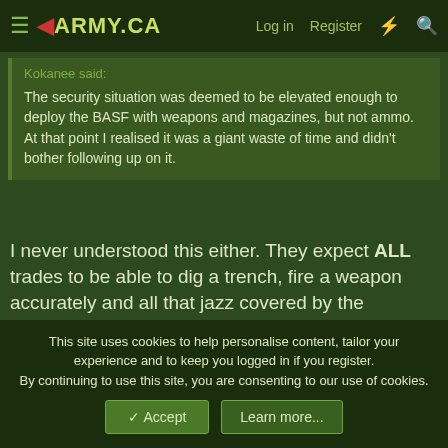◄ARMY.CA  Log in  Register
Kokanee said:
The security situation was deemed to be elevated enough to deploy the BASF with weapons and magazines, but not ammo. At that point I realised it was a giant waste of time and didn't bother following up on it.
I never understood this either.  They expect ALL trades to be able to dig a trench, fire a weapon accurately and all that jazz covered by the Universality of Service yet they don't give out live ammo for BASF.  I understand the safety thing but if you're expected to deploy and carry weapons you should be relied on to use them in a safe manner.  If you can't carry a weapon and not shoot yourself in the foot then you shouldn't be in the military at all.  It may sound harsh but it's the MILITARY, not boy/girl
This site uses cookies to help personalise content, tailor your experience and to keep you logged in if you register.
By continuing to use this site, you are consenting to our use of cookies.